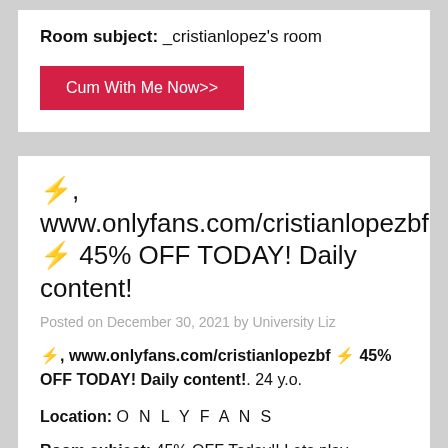Room subject: _cristianlopez's room
Cum With Me Now>>
⚡, www.onlyfans.com/cristianlopezbf ⚡ 45% OFF TODAY! Daily content!
Posted on December 30, 2021 by University Liz
⚡, www.onlyfans.com/cristianlopezbf ⚡ 45% OFF TODAY! Daily content!. 24 y.o.
Location: O N L Y F A N S
Room subject: 45% OFF Today!! Lets play